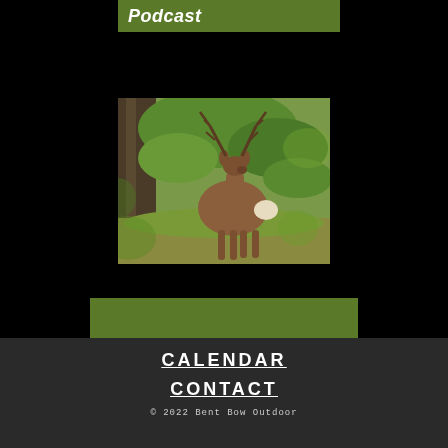Podcast
[Figure (photo): A mule deer buck with large antlers standing in a forest clearing surrounded by green brush and trees, viewed through foliage in the foreground]
[Figure (other): Solid olive/dark green rectangular banner]
CALENDAR
CONTACT
© 2022 Bent Bow Outdoor